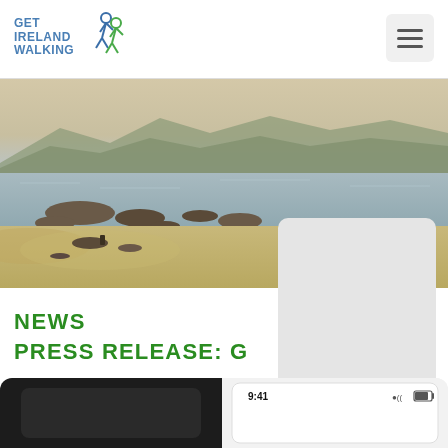GET IRELAND WALKING
[Figure (photo): Coastal beach landscape with rocky shore, sandy dunes and hills/mountains in the background under a hazy sky. Irish coastal scenery.]
NEWS
PRESS RELEASE: G
[Figure (screenshot): Two smartphone screenshots at the bottom of the page. Left phone shows a dark screen. Right phone shows a light screen with time 9:41 and signal/battery icons.]